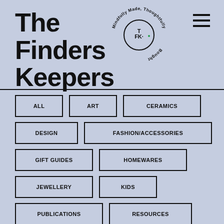The Finders Keepers
[Figure (logo): Circular logo with text 'Mindfully Made, Thoughtfully Bought' around the edge and 'TFK' in the center circle]
ALL
ART
CERAMICS
DESIGN
FASHION/ACCESSORIES
GIFT GUIDES
HOMEWARES
JEWELLERY
KIDS
PUBLICATIONS
RESOURCES